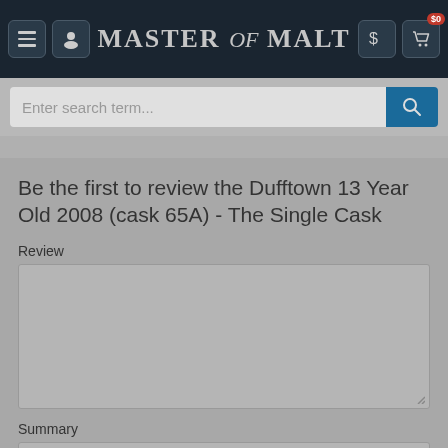Master of Malt
Be the first to review the Dufftown 13 Year Old 2008 (cask 65A) - The Single Cask
Review
Summary